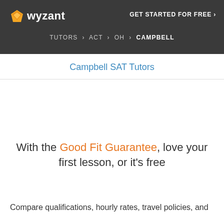wyzant | GET STARTED FOR FREE › | TUTORS › ACT › OH › CAMPBELL
Campbell SAT Tutors
With the Good Fit Guarantee, love your first lesson, or it's free
Compare qualifications, hourly rates, travel policies, and